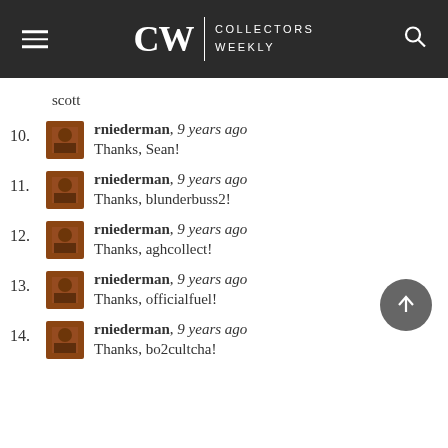CW | COLLECTORS WEEKLY
scott
10. rniederman, 9 years ago
Thanks, Sean!
11. rniederman, 9 years ago
Thanks, blunderbuss2!
12. rniederman, 9 years ago
Thanks, aghcollect!
13. rniederman, 9 years ago
Thanks, officialfuel!
14. rniederman, 9 years ago
Thanks, bo2cultcha!